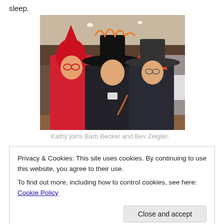sleep.
[Figure (photo): Three women in Halloween costumes posing together in a banquet hall. Left: woman in red devil/flame costume with red hat. Center: woman in black floral dress with large black witch hat with orange flame decoration. Right: woman in black witch robe with large black hat and orange/red wig.]
Kathy joins Barb Becker and Bev Zeigler.
Privacy & Cookies: This site uses cookies. By continuing to use this website, you agree to their use.
To find out more, including how to control cookies, see here: Cookie Policy